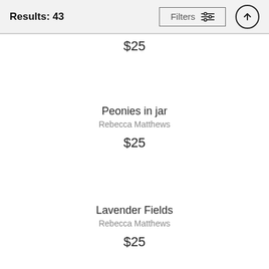Results: 43
$25
Peonies in jar
Rebecca Matthews
$25
Lavender Fields
Rebecca Matthews
$25